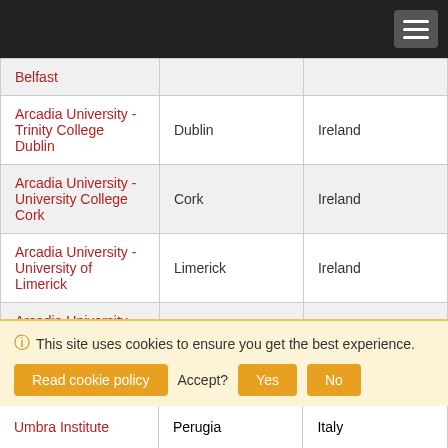| Program | City | Country |
| --- | --- | --- |
| Belfast |  |  |
| Arcadia University - Trinity College Dublin | Dublin | Ireland |
| Arcadia University - University College Cork | Cork | Ireland |
| Arcadia University - University of Limerick | Limerick | Ireland |
| Arcadia University - Accademia Italiana Florence | Florence | Italy |
| Arcadia University - |  |  |
| Umbra Institute | Perugia | Italy |
This site uses cookies to ensure you get the best experience. Read cookie policy Accept? Yes No